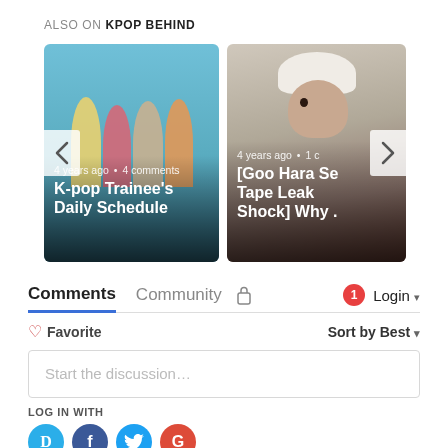ALSO ON KPOP BEHIND
[Figure (photo): Carousel with two article cards: left card shows K-pop group photo with title 'K-pop Trainee's Daily Schedule' and '4 years ago • 4 comments', right card shows person with white head wrap with title '[Goo Hara Se...Tape Leak Shock] Why .' and '4 years ago • 1 c'. Navigation arrows on left and right.]
Comments  Community  🔒  1  Login ▾
♡ Favorite    Sort by Best ▾
Start the discussion…
LOG IN WITH